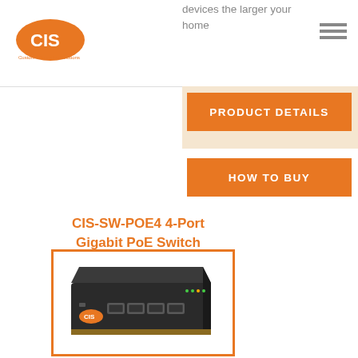[Figure (logo): CIS (Custom Integration Solutions) logo - orange ellipse with CIS text and tagline]
devices the larger your home
[Figure (other): Hamburger/menu icon - three horizontal lines]
PRODUCT DETAILS
HOW TO BUY
CIS-SW-POE4 4-Port Gigabit PoE Switch
[Figure (photo): Photo of CIS-SW-POE4 4-Port Gigabit PoE Switch - a black network switch with multiple ethernet ports and LED indicators, CIS branding on front panel]